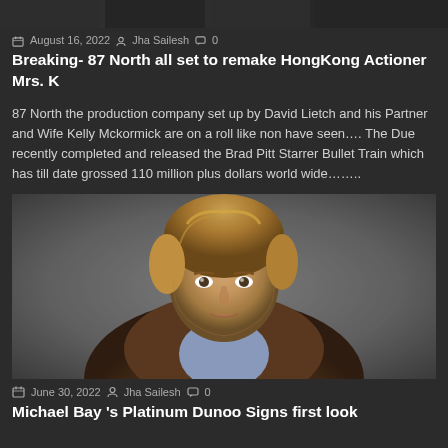[Figure (photo): Top strip image thumbnail(s) partially visible at top of page]
August 16, 2022  Jha Sailesh  0
Breaking- 87 North all set to remake HongKong Actioner Mrs. K
87 North the production company set up by David Lietch and his Partner and Wife Kelly Mckormick are on a roll like non have seen…. The Due recently completed and released the Brad Pitt Starrer Bullet Train which has till date grossed 110 million plus dollars world wide……..
[Figure (photo): Photo of a man with sandy blonde hair wearing a brown leather jacket over a blue shirt, photographed outdoors with a blurred crowd in background — appears to be Michael Bay]
June 30, 2022  Jha Sailesh  0
Michael Bay 's Platinum Dunoo Signs first look